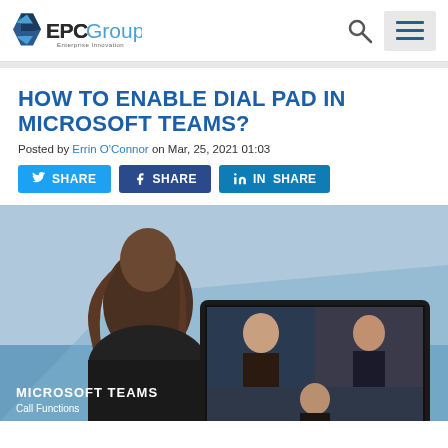EPC Group — Enterprise Innovation
HOW TO ENABLE DIAL PAD IN MICROSOFT TEAMS?
Posted by Errin O'Connor on Mar, 25, 2021 01:03
SHARE (Twitter) | SHARE (Facebook) | SHARE (LinkedIn)
[Figure (photo): Woman viewed from behind using a laptop showing a Microsoft Teams video call with three participants. Text overlay reads MICROSOFT TEAMS / Call Functions.]